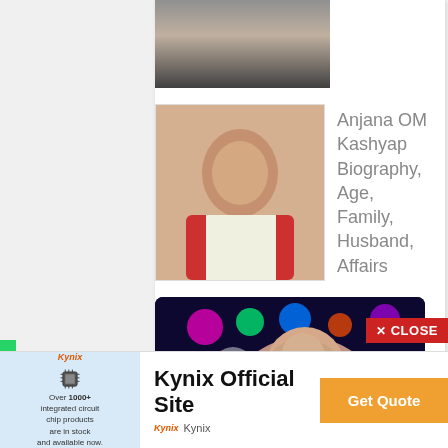[Figure (photo): Partially visible cropped photo of a person at top of page]
[Figure (photo): Photo of Anjana OM Kashyap in red and white saree]
Anjana OM Kashyap Biography, Age, Family, Husband, Affairs
[Figure (photo): Photo of a young woman with dark hair in a colorful party light background]
[Figure (logo): Kynix advertisement banner with chip icon, text: Over 1000+ integrated circuit chip products are in stock and available now. Kynix Official Site. Get Quote.]